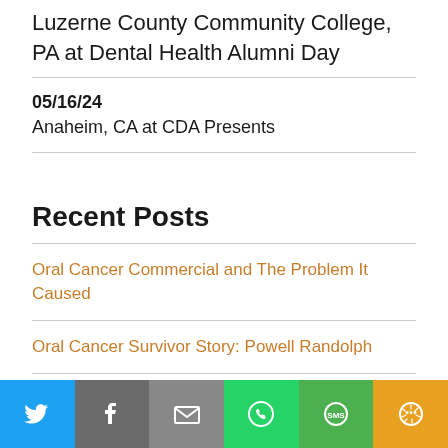Luzerne County Community College, PA at Dental Health Alumni Day
05/16/24
Anaheim, CA at CDA Presents
Recent Posts
Oral Cancer Commercial and The Problem It Caused
Oral Cancer Survivor Story: Powell Randolph
Oral Cancer Survivor Story: A Negligent Orthodontist
[Figure (infographic): Social share bar with icons for Twitter, Facebook, Email, WhatsApp, SMS, and More]